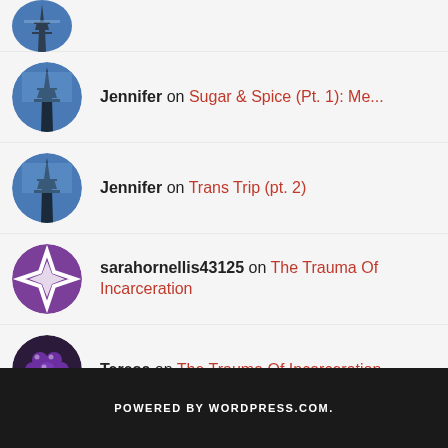(Eiffel Tower avatar - partial/cropped entry at top)
Jennifer on Sugar & Spice (Pt. 1): Me...
Jennifer on Trans Trip (pt. 2)
sarahornellis43125 on The Trauma Of Incarceration
Teresa on The Trauma Of Incarceration
POWERED BY WORDPRESS.COM.